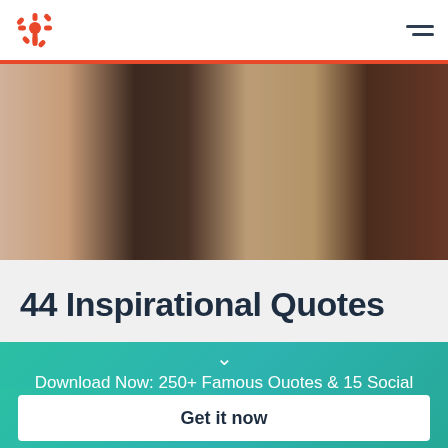HubSpot logo and navigation menu
[Figure (photo): Group of diverse people in conversation, blurred background, collaborative setting]
44 Inspirational Quotes
Download Now: 250+ Famous Quotes & 15 Social Media Image Templates
Get it now